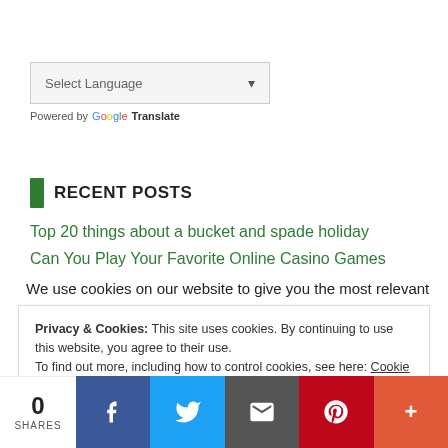[Figure (screenshot): Select Language dropdown widget with Google Translate branding]
RECENT POSTS
Top 20 things about a bucket and spade holiday
Can You Play Your Favorite Online Casino Games
We use cookies on our website to give you the most relevant
Privacy & Cookies: This site uses cookies. By continuing to use this website, you agree to their use. To find out more, including how to control cookies, see here: Cookie Policy
[Figure (screenshot): Social share bar with 0 SHARES count, Facebook, Twitter, Email, Pinterest, and More (+) buttons]